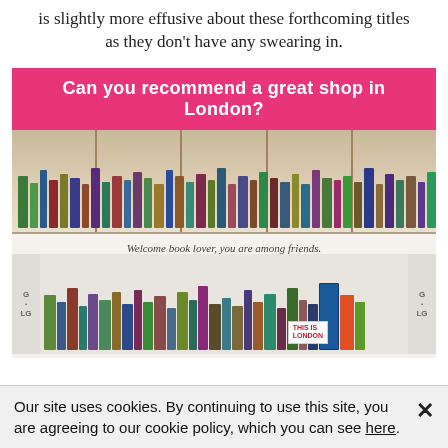is slightly more effusive about these forthcoming titles as they don't have any swearing in.
Can you recommend a great shop in London?
[Figure (photo): Interior photo of a London bookshop showing shelves of books and display tables with books. A sign reads 'Welcome book lover, you are among friends.']
Our site uses cookies. By continuing to use this site, you are agreeing to our cookie policy, which you can see here.